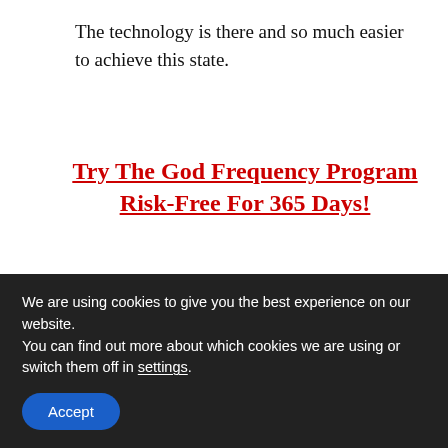The technology is there and so much easier to achieve this state.
Try The God Frequency Program Risk-Free For 365 Days!
God Frequency FAQs
1. Is The God Frequency Worth The
We are using cookies to give you the best experience on our website.
You can find out more about which cookies we are using or switch them off in settings.
Accept